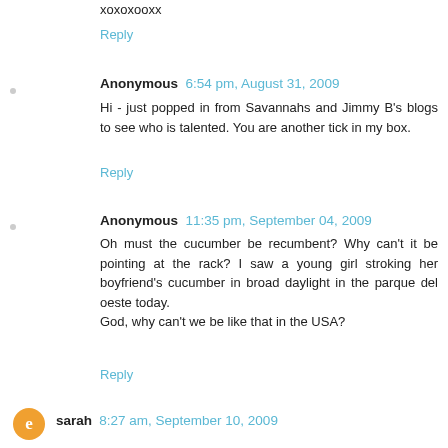xoxoxooxx
Reply
Anonymous 6:54 pm, August 31, 2009
Hi - just popped in from Savannahs and Jimmy B's blogs to see who is talented. You are another tick in my box.
Reply
Anonymous 11:35 pm, September 04, 2009
Oh must the cucumber be recumbent? Why can't it be pointing at the rack? I saw a young girl stroking her boyfriend's cucumber in broad daylight in the parque del oeste today.
God, why can't we be like that in the USA?
Reply
sarah 8:27 am, September 10, 2009